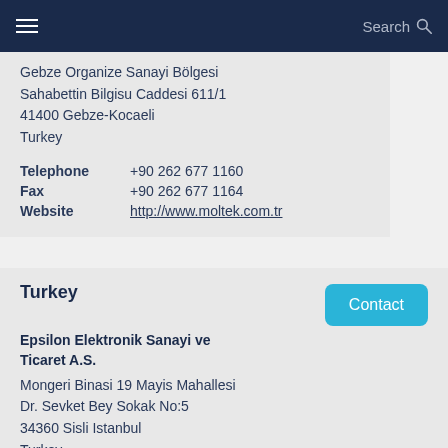Search
Gebze Organize Sanayi Bölgesi
Sahabettin Bilgisu Caddesi 611/1
41400 Gebze-Kocaeli
Turkey
Telephone +90 262 677 1160
Fax +90 262 677 1164
Website http://www.moltek.com.tr
Turkey
Epsilon Elektronik Sanayi ve Ticaret A.S.
Mongeri Binasi 19 Mayis Mahallesi
Dr. Sevket Bey Sokak No:5
34360 Sisli Istanbul
Turkey
Telephone +90 212 219 56 57/3236